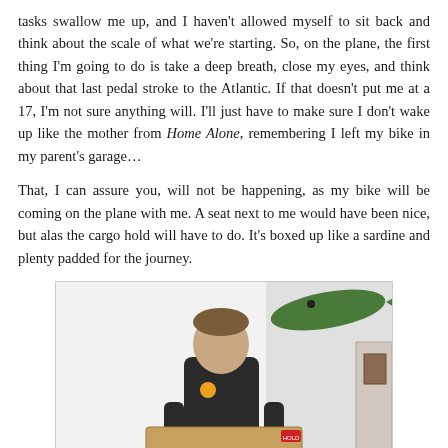tasks swallow me up, and I haven't allowed myself to sit back and think about the scale of what we're starting. So, on the plane, the first thing I'm going to do is take a deep breath, close my eyes, and think about that last pedal stroke to the Atlantic. If that doesn't put me at a 17, I'm not sure anything will. I'll just have to make sure I don't wake up like the mother from Home Alone, remembering I left my bike in my parent's garage…
That, I can assure you, will not be happening, as my bike will be coming on the plane with me. A seat next to me would have been nice, but alas the cargo hold will have to do. It's boxed up like a sardine and plenty padded for the journey.
[Figure (photo): A person standing indoors holding a large cardboard box labelled 'SURLY', with a decorative fish mounted on the wall in the background.]